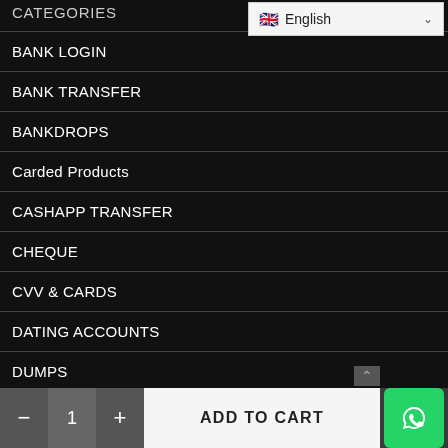CATEGORIES
[Figure (screenshot): English language selector dropdown with UK flag]
BANK LOGIN
BANK TRANSFER
BANKDROPS
Carded Products
CASHAPP TRANSFER
CHEQUE
CVV & CARDS
DATING ACCOUNTS
DUMPS
FAKE IDs
- 1 + ADD TO CART